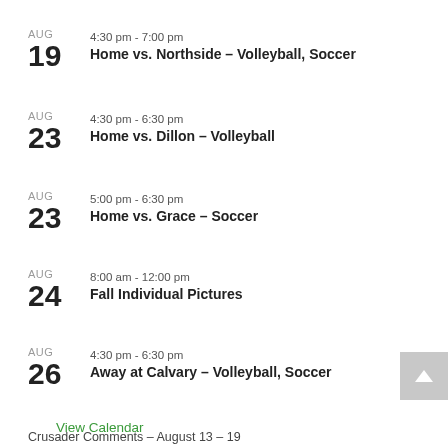AUG 19 | 4:30 pm - 7:00 pm | Home vs. Northside – Volleyball, Soccer
AUG 23 | 4:30 pm - 6:30 pm | Home vs. Dillon – Volleyball
AUG 23 | 5:00 pm - 6:30 pm | Home vs. Grace – Soccer
AUG 24 | 8:00 am - 12:00 pm | Fall Individual Pictures
AUG 26 | 4:30 pm - 6:30 pm | Away at Calvary – Volleyball, Soccer
View Calendar
Crusader Comments – August 13 – 19